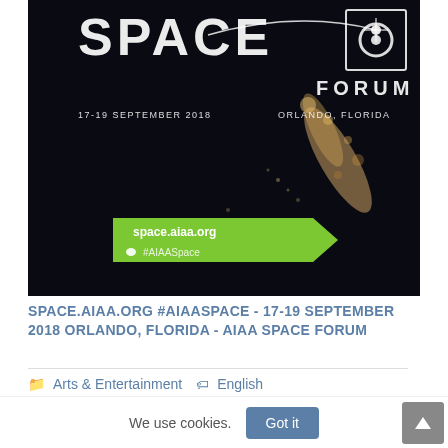[Figure (photo): AIAA Space Forum 2018 promotional image showing Earth at night from space with 'SPACE FORUM' text overlay, date '17-19 September 2018', location 'Orlando, Florida', green arrow banner with 'space.aiaa.org' and '#AIAASpace' Twitter handle]
SPACE.AIAA.ORG #AIAASPACE - 17-19 SEPTEMBER 2018 ORLANDO, FLORIDA - AIAA SPACE FORUM
Arts & Entertainment  English
We use cookies.  Got it